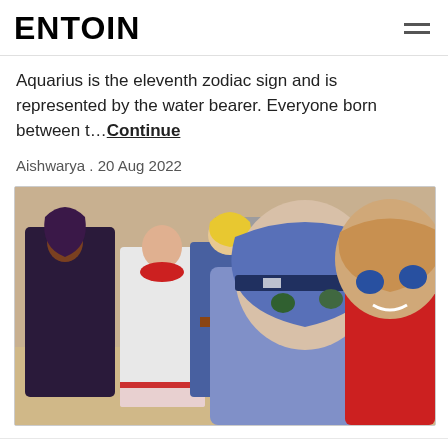ENTOIN
Aquarius is the eleventh zodiac sign and is represented by the water bearer. Everyone born between t…Continue
Aishwarya . 20 Aug 2022
[Figure (photo): Anime characters from what appears to be a pirate/adventure anime series. Multiple characters shown including a woman in a dark outfit, a character in white robes with red trim, a blonde character in blue outfit, a blue-haired girl with headband, and a character in red jacket.]
Top 25 Best Pirate Anime Of All Time
21 min read